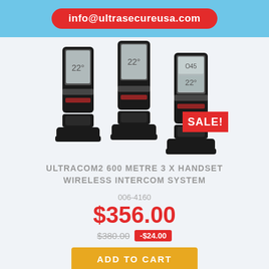info@ultrasecureusa.com
[Figure (photo): Three black wireless intercom handsets in charging docks, with a red SALE! badge overlay in the bottom right]
ULTRACOM2 600 METRE 3 X HANDSET WIRELESS INTERCOM SYSTEM
006-4160
$356.00
$380.00  -$24.00
ADD TO CART